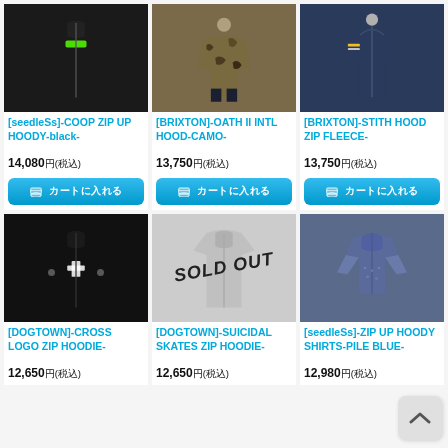[Figure (photo): Black zip-up hoodie with green logo on chest, [seedleSs] brand]
[seedleSs]-COOP ZIP UP HOODY-black-
14,080円(税込)
[Figure (photo): Camouflage hooded jacket worn by model, [BRIXTON] brand]
[BRIXTON]-OATH II INTL HOOD-CAMO-
13,750円(税込)
[Figure (photo): Navy zip hoodie fleece with yellow stripe on sleeve, [BRIXTON] brand]
[BRIXTON]-STITH HOOD ZIP FLEECE-
13,750円(税込)
[Figure (photo): Black zip hoodie with cross logo, [DOGTOWN] brand]
[DOGTOWN]-CROSS LOGO ZIP HOODIE-
12,650円(税込)
[Figure (photo): Gray zip hoodie marked SOLD OUT, [DOGTOWN]-SUICIDAL SKATES]
[DOGTOWN]-SUICIDAL SKATES ZIP HOODIE-
12,650円(税込)
[Figure (photo): Blue short-sleeve zip hoodie shirt, [seedleSs] brand]
[seedleSs]-ZIP UP HOODY SHIRTS-PILE BLUE-
12,980円(税込)